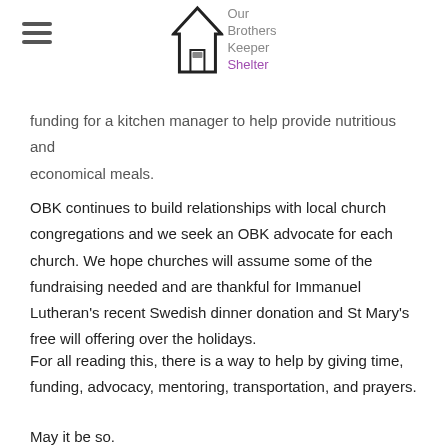Our Brothers Keeper Shelter
funding for a kitchen manager to help provide nutritious and economical meals.
OBK continues to build relationships with local church congregations and we seek an OBK advocate for each church. We hope churches will assume some of the fundraising needed and are thankful for Immanuel Lutheran's recent Swedish dinner donation and St Mary's free will offering over the holidays.
For all reading this, there is a way to help by giving time, funding, advocacy, mentoring, transportation, and prayers.
May it be so.